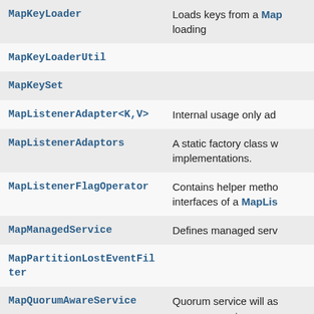| Class | Description |
| --- | --- |
| MapKeyLoader | Loads keys from a Map loading |
| MapKeyLoaderUtil |  |
| MapKeySet |  |
| MapListenerAdapter<K,V> | Internal usage only ad |
| MapListenerAdaptors | A static factory class w implementations. |
| MapListenerFlagOperator | Contains helper metho interfaces of a MapLis |
| MapManagedService | Defines managed serv |
| MapPartitionLostEventFilter |  |
| MapQuorumAwareService | Quorum service will as quorum or not. |
| MapRecordKey |  |
| MapService | Defines map service be |